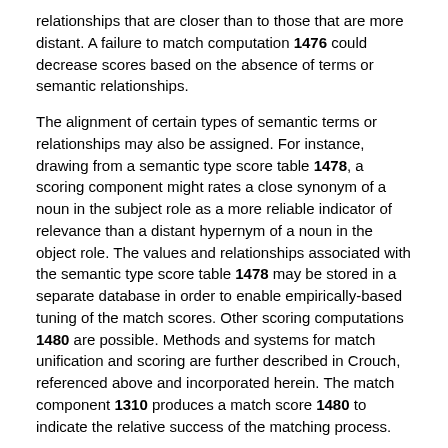relationships that are closer than to those that are more distant. A failure to match computation 1476 could decrease scores based on the absence of terms or semantic relationships.
The alignment of certain types of semantic terms or relationships may also be assigned. For instance, drawing from a semantic type score table 1478, a scoring component might rates a close synonym of a noun in the subject role as a more reliable indicator of relevance than a distant hypernym of a noun in the object role. The values and relationships associated with the semantic type score table 1478 may be stored in a separate database in order to enable empirically-based tuning of the match scores. Other scoring computations 1480 are possible. Methods and systems for match unification and scoring are further described in Crouch, referenced above and incorporated herein. The match component 1310 produces a match score 1480 to indicate the relative success of the matching process.
Various of the above-disclosed and other features and functions, or alternatives thereof, may be desirably